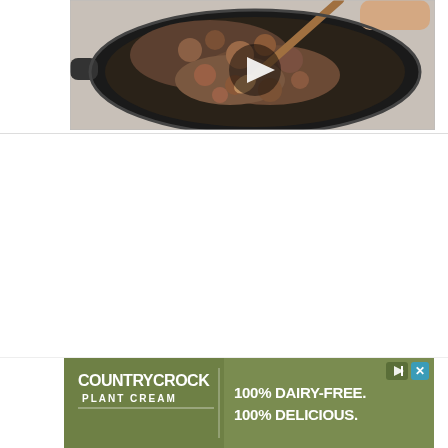[Figure (screenshot): Video thumbnail showing a dark cooking pan/wok viewed from above with browning ground meat being stirred with a wooden spoon. A triangular white play button overlay is centered on the image.]
[Figure (other): Advertisement banner for Country Crock Plant Cream with olive/green background. Left side shows 'COUNTRY CROCK PLANT CREAM' logo in white text. Right side shows '100% DAIRY-FREE. 100% DELICIOUS.' in large bold white text. Skip/close buttons visible in top right corner.]